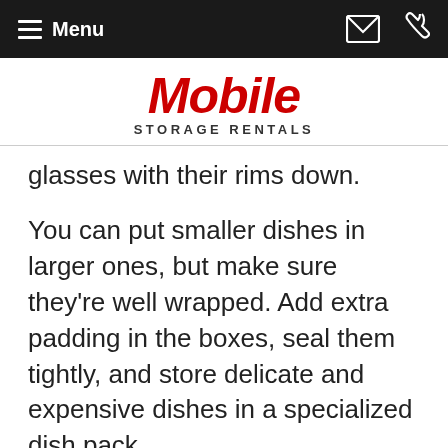Menu
[Figure (logo): Mobile Storage Rentals logo with red bold 'Mobile' text and 'STORAGE RENTALS' subtitle]
glasses with their rims down.
You can put smaller dishes in larger ones, but make sure they're well wrapped. Add extra padding in the boxes, seal them tightly, and store delicate and expensive dishes in a specialized dish pack.
Artwork: